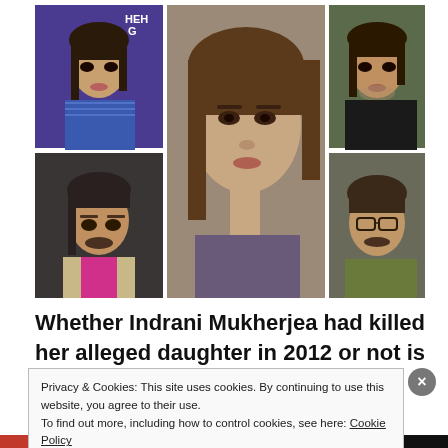[Figure (photo): A collage of five people: top-left a woman in blue saree with text HEH GA visible, center a young woman with straight hair, top-right a young man in black t-shirt, bottom-left an older man in pink shirt and beige jacket, bottom-right a middle-aged man with glasses and moustache.]
Whether Indrani Mukherjea had killed her alleged daughter in 2012 or not is a question most think they
Privacy & Cookies: This site uses cookies. By continuing to use this website, you agree to their use.
To find out more, including how to control cookies, see here: Cookie Policy
Close and accept